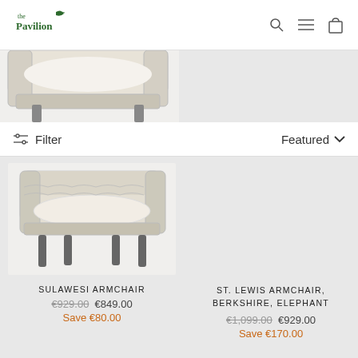[Figure (logo): The Pavilion logo in dark green with a leaf icon]
[Figure (illustration): Navigation icons: search magnifier, hamburger menu, shopping bag]
Filter
Featured
[Figure (photo): Sulawesi Armchair product photo - rattan/wicker armchair with white cushion, partially cropped]
SULAWESI ARMCHAIR
€929.00 €849.00
Save €80.00
Sale
ST. LEWIS ARMCHAIR, BERKSHIRE, ELEPHANT
€1,099.00 €929.00
Save €170.00
Sale